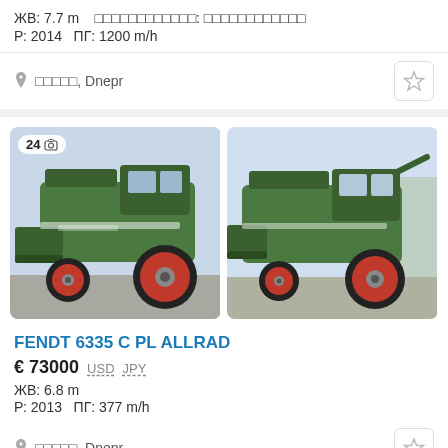ЖВ: 7.7 m  Пропускна здатність: невизначена
Р: 2014  ПГ: 1200 m/h
📍 ЯЗДНЯ, Dnepr
[Figure (photo): Two photos of a green Fendt 6335 C PL ALLRAD combine harvester, side and front views, with red wheels and Fendt branding. Photo count badge shows 24.]
FENDT 6335 C PL ALLRAD
€ 73000  USD  JPY
ЖВ: 6.8 m
Р: 2013  ПГ: 377 m/h
📍 ЯЗДНЯ, Dnepr